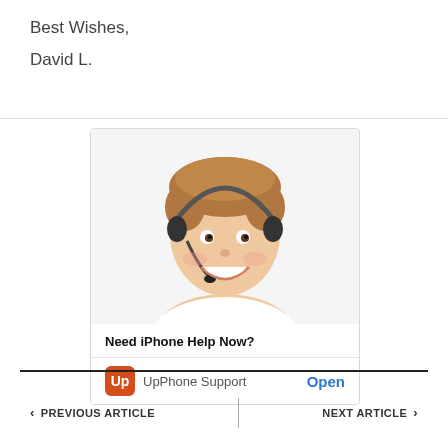Best Wishes,
David L.
[Figure (photo): Smiling young person with a headset/microphone, customer support representative, on white background]
Need iPhone Help Now?
UpPhone Support   Open
< PREVIOUS ARTICLE   NEXT ARTICLE >